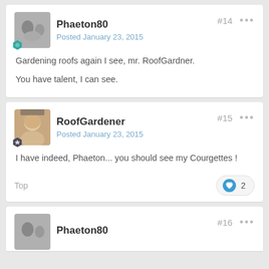Phaeton80
Posted January 23, 2015
#14
Gardening roofs again I see, mr. RoofGardner.

You have talent, I can see.
RoofGardner
Posted January 23, 2015
#15
I have indeed, Phaeton... you should see my Courgettes !
Top
2
Phaeton80
#16